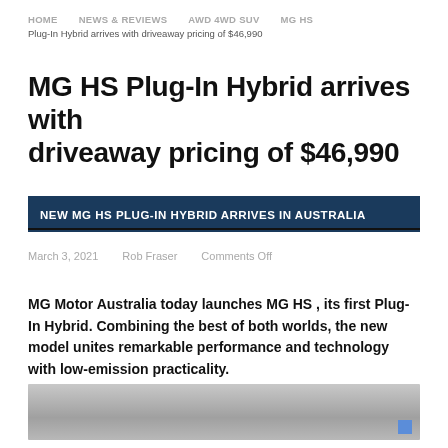HOME   NEWS & REVIEWS   AWD 4WD SUV   MG HS
Plug-In Hybrid arrives with driveaway pricing of $46,990
MG HS Plug-In Hybrid arrives with driveaway pricing of $46,990
NEW MG HS PLUG-IN HYBRID ARRIVES IN AUSTRALIA
March 3, 2021   Rob Fraser   Comments Off
MG Motor Australia today launches MG HS , its first Plug-In Hybrid. Combining the best of both worlds, the new model unites remarkable performance and technology with low-emission practicality.
[Figure (photo): Greyscale/silver gradient image placeholder for MG HS vehicle photo]